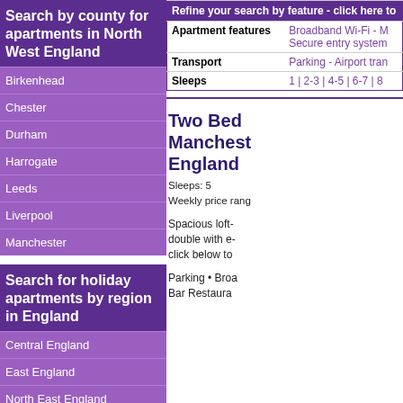| Refine your search by feature - click here to |  |  |
| --- | --- | --- |
| Apartment features | Broadband Wi-Fi - M |  |
|  | Secure entry system |  |
| Transport | Parking - Airport tran |  |
| Sleeps | 1 | 2-3 | 4-5 | 6-7 | 8 |  |
Two Bed Manchester England
Sleeps: 5
Weekly price rang
Spacious loft- double with e- click below to
Parking • Broa Bar Restaura
Search by county for apartments in North West England
Birkenhead
Chester
Durham
Harrogate
Leeds
Liverpool
Manchester
Search for holiday apartments by region in England
Central England
East England
North East England